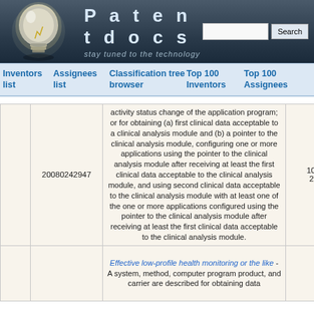Patentdocs — stay tuned to the technology
Inventors list | Assignees list | Classification tree browser | Top 100 Inventors | Top 100 Assignees
|  | Patent Number | Description | Date |
| --- | --- | --- | --- |
|  | 20080242947 | activity status change of the application program; or for obtaining (a) first clinical data acceptable to a clinical analysis module and (b) a pointer to the clinical analysis module, configuring one or more applications using the pointer to the clinical analysis module after receiving at least the first clinical data acceptable to the clinical analysis module, and using second clinical data acceptable to the clinical analysis module with at least one of the one or more applications configured using the pointer to the clinical analysis module after receiving at least the first clinical data acceptable to the clinical analysis module. | 10-02-2008 |
|  |  | Effective low-profile health monitoring or the like - A system, method, computer program product, and carrier are described for obtaining data |  |